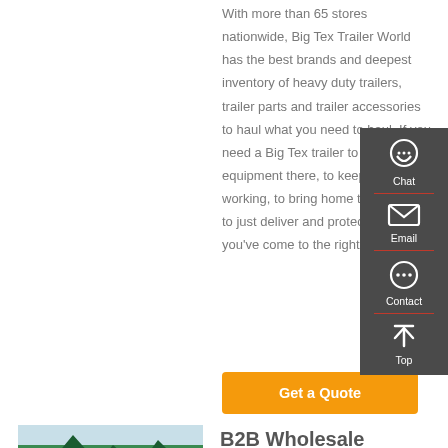With more than 65 stores nationwide, Big Tex Trailer World has the best brands and deepest inventory of heavy duty trailers, trailer parts and trailer accessories to haul what you need to haul. If you need a Big Tex trailer to get your equipment there, to keep the crew working, to bring home the bacon or to just deliver and protect your toys, you've come to the right place.
[Figure (infographic): Sidebar widget with dark grey background showing Chat, Email, Contact, and Top navigation buttons with icons]
[Figure (photo): Partial photo of trees and mountains with blue sky background]
Get a Quote
B2B Wholesale